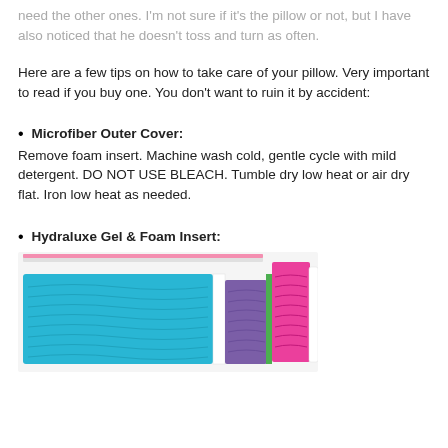need the other ones. I'm not sure if it's the pillow or not, but I have also noticed that he doesn't toss and turn as often.
Here are a few tips on how to take care of your pillow. Very important to read if you buy one. You don't want to ruin it by accident:
Microfiber Outer Cover:
Remove foam insert. Machine wash cold, gentle cycle with mild detergent. DO NOT USE BLEACH. Tumble dry low heat or air dry flat. Iron low heat as needed.
Hydraluxe Gel & Foam Insert:
[Figure (photo): Stacked colorful gel and foam pillow inserts showing teal, purple, green and pink colored layers]